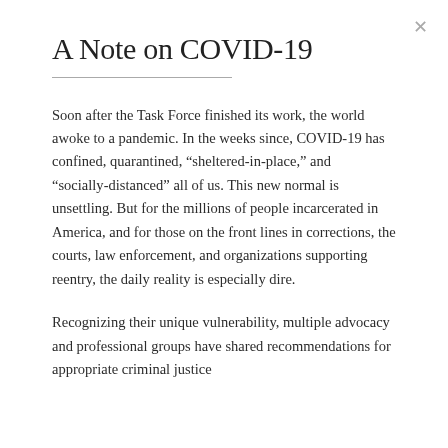A Note on COVID-19
Soon after the Task Force finished its work, the world awoke to a pandemic. In the weeks since, COVID-19 has confined, quarantined, “sheltered-in-place,” and “socially-distanced” all of us. This new normal is unsettling. But for the millions of people incarcerated in America, and for those on the front lines in corrections, the courts, law enforcement, and organizations supporting reentry, the daily reality is especially dire.
Recognizing their unique vulnerability, multiple advocacy and professional groups have shared recommendations for appropriate criminal justice